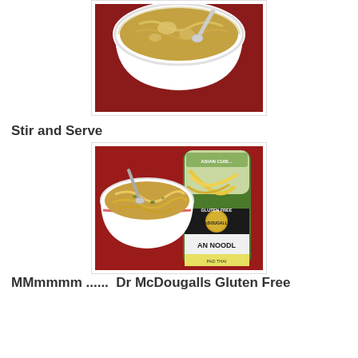[Figure (photo): Close-up photo of a white bowl containing noodles with broth and a spoon, taken from above, on a red surface.]
Stir and Serve
[Figure (photo): Photo of a white bowl with noodles and broth next to a can of Dr. McDougall's Gluten Free Asian Noodle Pad Thai product, on a red surface.]
MMmmmm ......  Dr McDougalls Gluten Free